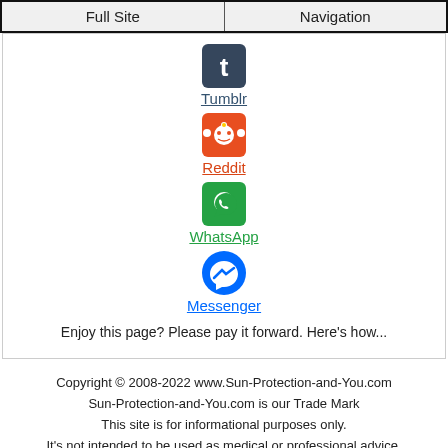Full Site | Navigation
[Figure (illustration): Social media share icons: Tumblr (blue), Reddit (orange/red), WhatsApp (green), Messenger (blue)]
Enjoy this page? Please pay it forward. Here's how...
Copyright © 2008-2022 www.Sun-Protection-and-You.com
Sun-Protection-and-You.com is our Trade Mark
This site is for informational purposes only.
It's not intended to be used as medical or professional advice.
Always seek your own medical or professional advice. All rights reserved.